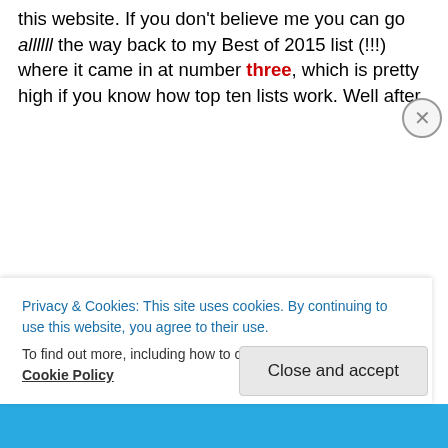this website. If you don't believe me you can go allllll the way back to my Best of 2015 list (!!!) where it came in at number three, which is pretty high if you know how top ten lists work. Well after, seemingly forever, Fargo is back for it's third season and it looks to be crazier than ever and we all say thank you. Previous seasons of Fargo have relished in tight, suspenseful storytelling that are played out through brilliant acting. Look no further than Martin Freeman, Billy Bob Thorton, Patrick Wilson, and Kirsten Dunst if you need further proof. This season boasts a cast that has Ewan McGregor playing brothers (if you're quick at math then you know that means two
Privacy & Cookies: This site uses cookies. By continuing to use this website, you agree to their use. To find out more, including how to control cookies, see here: Cookie Policy
Close and accept